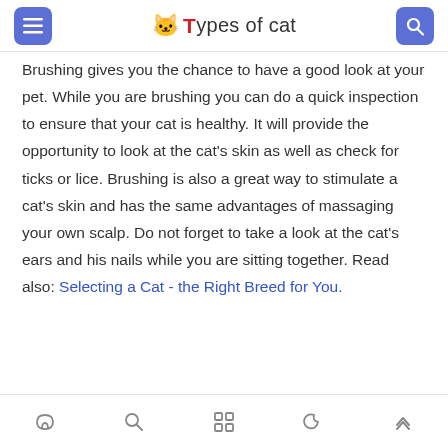Types of cat
Brushing gives you the chance to have a good look at your pet. While you are brushing you can do a quick inspection to ensure that your cat is healthy. It will provide the opportunity to look at the cat’s skin as well as check for ticks or lice. Brushing is also a great way to stimulate a cat’s skin and has the same advantages of massaging your own scalp. Do not forget to take a look at the cat’s ears and his nails while you are sitting together. Read also: Selecting a Cat - the Right Breed for You.
home search grid moon up